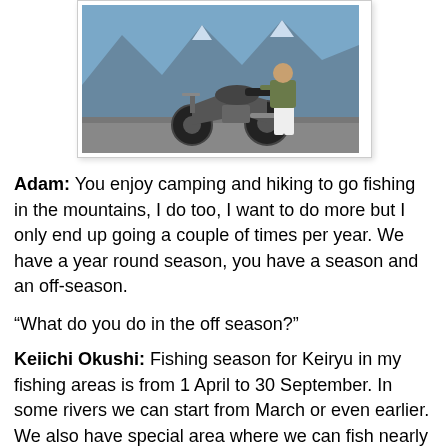[Figure (photo): A person standing next to a motorcycle on a mountain road with snowy peaks and water in the background.]
Adam: You enjoy camping and hiking to go fishing in the mountains, I do too, I want to do more but I only end up going a couple of times per year. We have a year round season, you have a season and an off-season.
“What do you do in the off season?”
Keiichi Okushi: Fishing season for Keiryu in my fishing areas is from 1 April to 30 September. In some rivers we can start from March or even earlier. We also have special area where we can fish nearly all year round. I sometimes go there in off season.
I rarely go to the ocean for fly fishing for Sea-bass or bait fishing for other fish.